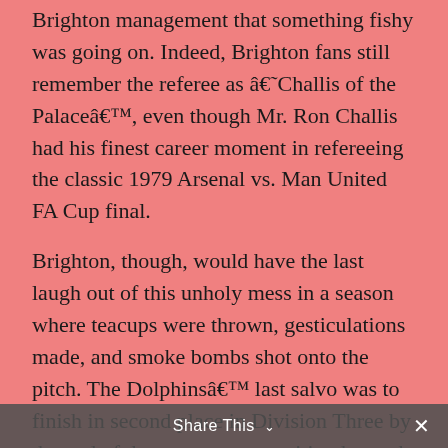Brighton management that something fishy was going on. Indeed, Brighton fans still remember the referee as â€˜Challis of the Palaceâ€™, even though Mr. Ron Challis had his finest career moment in refereeing the classic 1979 Arsenal vs. Man United FA Cup final.
Brighton, though, would have the last laugh out of this unholy mess in a season where teacups were thrown, gesticulations made, and smoke bombs shot onto the pitch. The Dolphinsâ€™ last salvo was to finish in second place in Division Three by the end of the season, one position beneath champions Mansfield Town and one above Crystal Place in third. These were the days of three teams getting promoted automatically, with no play-offs on the horizon.
Change was coming though. As the south coast side attempted to scale new heights, they replaced the dolphin nickname with that of their present day
Share This ∨  ✕